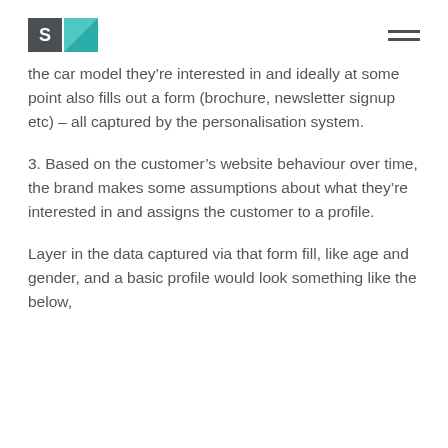S [logo]
the car model they’re interested in and ideally at some point also fills out a form (brochure, newsletter signup etc) – all captured by the personalisation system.
3. Based on the customer’s website behaviour over time, the brand makes some assumptions about what they’re interested in and assigns the customer to a profile.
Layer in the data captured via that form fill, like age and gender, and a basic profile would look something like the below,